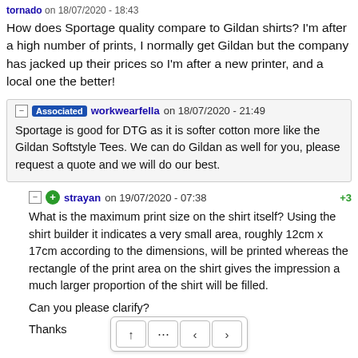tornado on 18/07/2020 - 18:43
How does Sportage quality compare to Gildan shirts? I'm after a high number of prints, I normally get Gildan but the company has jacked up their prices so I'm after a new printer, and a local one the better!
Associated workwearfella on 18/07/2020 - 21:49
Sportage is good for DTG as it is softer cotton more like the Gildan Softstyle Tees. We can do Gildan as well for you, please request a quote and we will do our best.
strayan on 19/07/2020 - 07:38 +3
What is the maximum print size on the shirt itself? Using the shirt builder it indicates a very small area, roughly 12cm x 17cm according to the dimensions, will be printed whereas the rectangle of the print area on the shirt gives the impression a much larger proportion of the shirt will be filled.

Can you please clarify?

Thanks